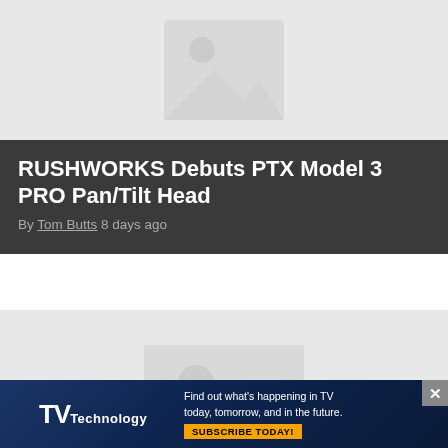[Figure (photo): Placeholder image thumbnail for RUSHWORKS PTX Model 3 PRO article]
RUSHWORKS Debuts PTX Model 3 PRO Pan/Tilt Head
By Tom Butts 8 days ago
[Figure (photo): Placeholder image thumbnail for XenData CX-10 Plus article]
XenData Announces the CX-10 Plus
[Figure (other): TVTechnology advertisement banner: Find out what's happening in TV today, tomorrow, and in the future. SUBSCRIBE TODAY!]